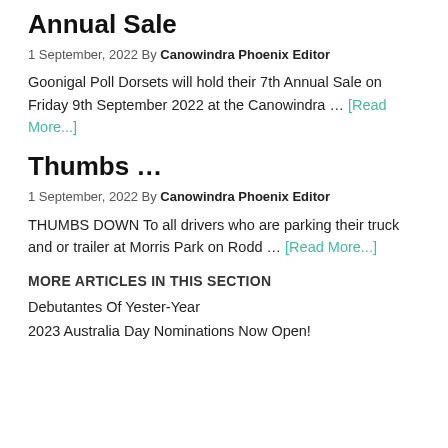Annual Sale
1 September, 2022 By Canowindra Phoenix Editor
Goonigal Poll Dorsets will hold their 7th Annual Sale on Friday 9th September 2022 at the Canowindra … [Read More...]
Thumbs …
1 September, 2022 By Canowindra Phoenix Editor
THUMBS DOWN  To all drivers who are parking  their truck and or trailer at Morris  Park on Rodd … [Read More...]
MORE ARTICLES IN THIS SECTION
Debutantes Of Yester-Year
2023 Australia Day Nominations Now Open!